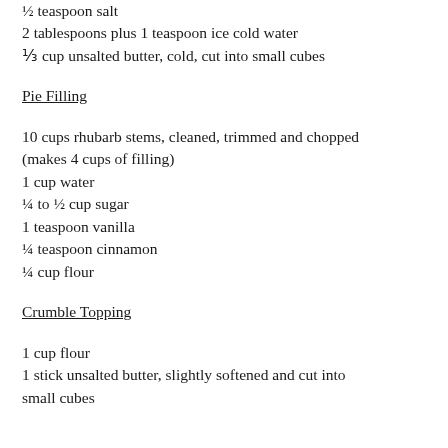½ teaspoon salt
2 tablespoons plus 1 teaspoon ice cold water
⅓ cup unsalted butter, cold, cut into small cubes
Pie Filling
10 cups rhubarb stems, cleaned, trimmed and chopped (makes 4 cups of filling)
1 cup water
¼ to ½ cup sugar
1 teaspoon vanilla
¼ teaspoon cinnamon
¼ cup flour
Crumble Topping
1 cup flour
1 stick unsalted butter, slightly softened and cut into small cubes